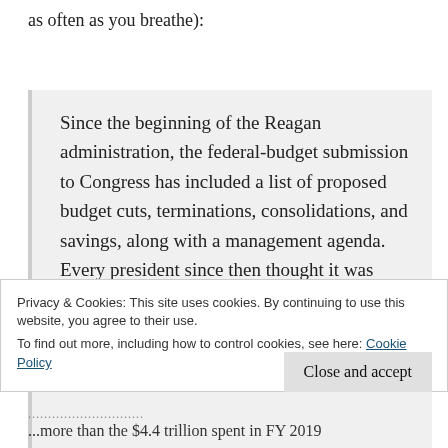as often as you breathe):
Since the beginning of the Reagan administration, the federal-budget submission to Congress has included a list of proposed budget cuts, terminations, consolidations, and savings, along with a management agenda. Every president since then thought it was important to provide this information, until President Joe Biden decided that there is not a single penny of the taxpayers' money being...
Privacy & Cookies: This site uses cookies. By continuing to use this website, you agree to their use.
To find out more, including how to control cookies, see here: Cookie Policy
Close and accept
...........................  more than the $4.4 trillion spent in FY 2019